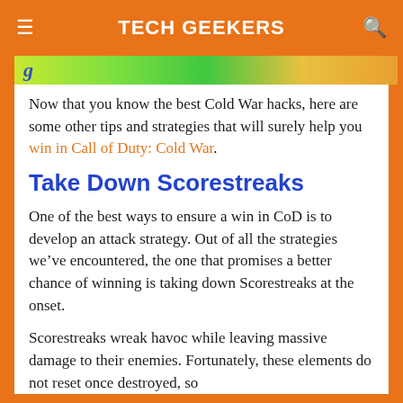TECH GEEKERS
[Figure (illustration): Partial image banner with green-yellow to orange gradient background and blue italic text partially visible]
Now that you know the best Cold War hacks, here are some other tips and strategies that will surely help you win in Call of Duty: Cold War.
Take Down Scorestreaks
One of the best ways to ensure a win in CoD is to develop an attack strategy. Out of all the strategies we’ve encountered, the one that promises a better chance of winning is taking down Scorestreaks at the onset.
Scorestreaks wreak havoc while leaving massive damage to their enemies. Fortunately, these elements do not reset once destroyed, so